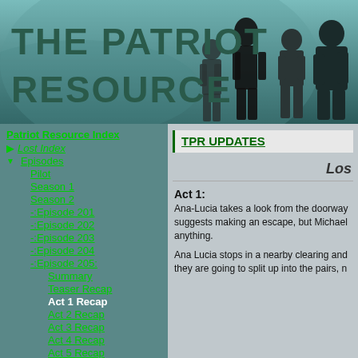[Figure (illustration): Header banner with THE PATRIOT RESOURCE title text and silhouetted figures of people against a teal/blue stormy background]
THE PATRIOT RESOURCE
Patriot Resource Index
Lost Index
Episodes
Pilot
Season 1
Season 2
-:Episode 201
-:Episode 202
-:Episode 203
-:Episode 204
-:Episode 205: Summary
Teaser Recap
Act 1 Recap
Act 2 Recap
Act 3 Recap
Act 4 Recap
Act 5 Recap
Flashbacks
The Island
TPR UPDATES
Los
Act 1:
Ana-Lucia takes a look from the doorway suggests making an escape, but Michael anything.
Ana Lucia stops in a nearby clearing and they are going to split up into the pairs, n